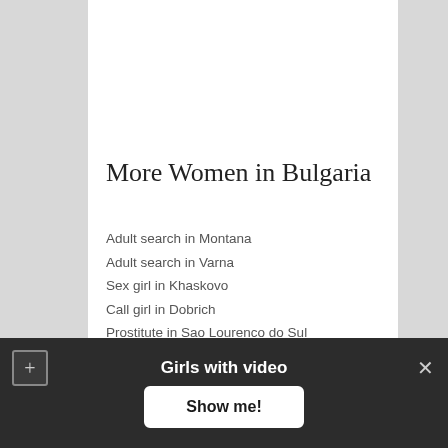[Figure (photo): Escort agency promotional image with woman and red flowers, with text 'ESCORT AGENCY' overlaid]
More Women in Bulgaria
Adult search in Montana
Adult search in Varna
Sex girl in Khaskovo
Call girl in Dobrich
Prostitute in Sao Lourenco do Sul
Escort in Prijedor
Slut in Saveh
Prostitute in Zaranj
Sex for money in Monaco
Girls with video
Show me!